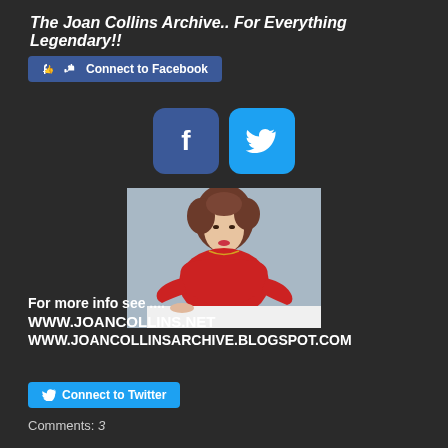The Joan Collins Archive.. For Everything Legendary!!
[Figure (logo): Facebook connect button with thumbs up icon]
[Figure (logo): Facebook and Twitter social media icon buttons (dark blue f and light blue bird)]
[Figure (photo): Woman with curly brown hair wearing a red off-shoulder top, posed against a gray background]
For more info see ....
WWW.JOANCOLLINS.NET
WWW.JOANCOLLINSARCHIVE.BLOGSPOT.COM
[Figure (logo): Connect to Twitter button with bird icon]
Comments: 3